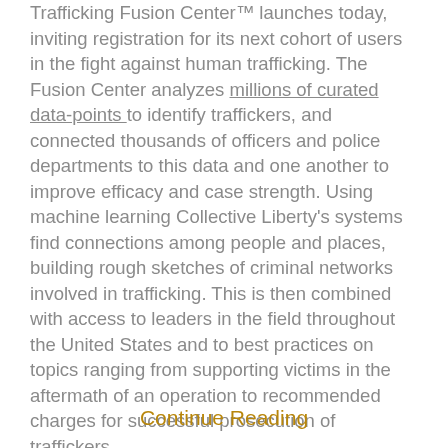Trafficking Fusion Center™ launches today, inviting registration for its next cohort of users in the fight against human trafficking. The Fusion Center analyzes millions of curated data-points to identify traffickers, and connected thousands of officers and police departments to this data and one another to improve efficacy and case strength. Using machine learning Collective Liberty's systems find connections among people and places, building rough sketches of criminal networks involved in trafficking. This is then combined with access to leaders in the field throughout the United States and to best practices on topics ranging from supporting victims in the aftermath of an operation to recommended charges for successful prosecution of traffickers.
Continue Reading